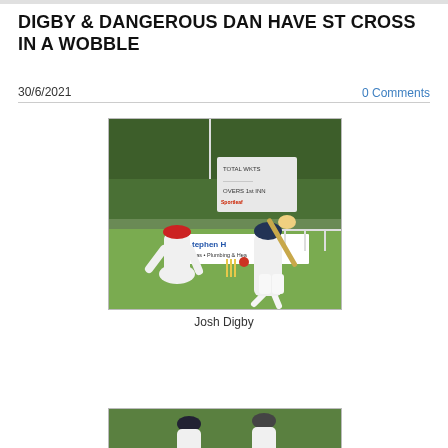DIGBY & DANGEROUS DAN HAVE ST CROSS IN A WOBBLE
30/6/2021
0 Comments
[Figure (photo): Cricket match photo showing a batsman in white kit hitting the ball, with a wicketkeeper in red cap crouching behind the stumps, green trees and advertising boards including 'Stephen H' (Gas - Plumbing & Heat) in the background, and a cricket scoreboard showing TOTAL, WKTS, OVERS, 1st INN.]
Josh Digby
[Figure (photo): Second cricket photo, partially visible, showing players in cricket whites on a green field.]